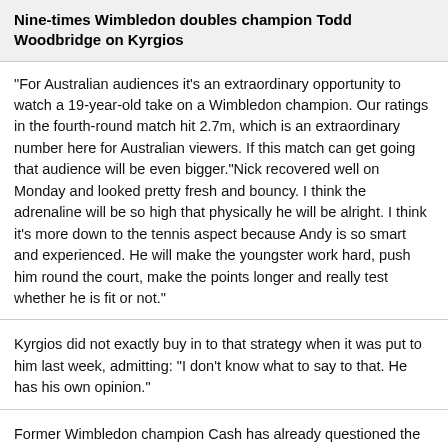Nine-times Wimbledon doubles champion Todd Woodbridge on Kyrgios
"For Australian audiences it's an extraordinary opportunity to watch a 19-year-old take on a Wimbledon champion. Our ratings in the fourth-round match hit 2.7m, which is an extraordinary number here for Australian viewers. If this match can get going that audience will be even bigger."Nick recovered well on Monday and looked pretty fresh and bouncy. I think the adrenaline will be so high that physically he will be alright. I think it's more down to the tennis aspect because Andy is so smart and experienced. He will make the youngster work hard, push him round the court, make the points longer and really test whether he is fit or not."
Kyrgios did not exactly buy in to that strategy when it was put to him last week, admitting: "I don't know what to say to that. He has his own opinion."
Former Wimbledon champion Cash has already questioned the wisdom of trying to shackle such an outrageous talent.